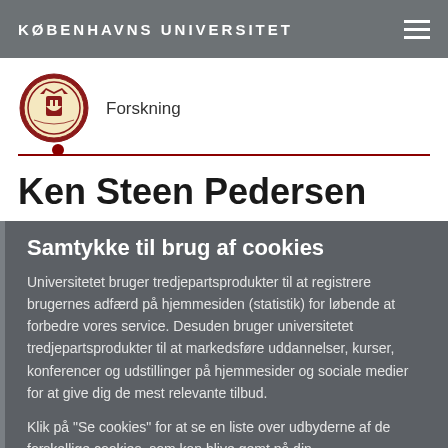KØBENHAVNS UNIVERSITET
[Figure (logo): University of Copenhagen circular seal/crest logo in red and gold]
Forskning
Ken Steen Pedersen
Samtykke til brug af cookies
Universitetet bruger tredjepartsprodukter til at registrere brugernes adfærd på hjemmesiden (statistik) for løbende at forbedre vores service. Desuden bruger universitetet tredjepartsprodukter til at markedsføre uddannelser, kurser, konferencer og udstillinger på hjemmesider og sociale medier for at give dig de mest relevante tilbud.
Klik på "Se cookies" for at se en liste over udbyderne af de forskellige cookies, som kan blive gemt på din